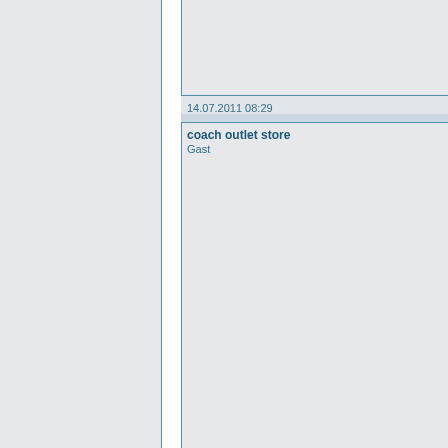14.07.2011 08:29
coach outlet store
Gast